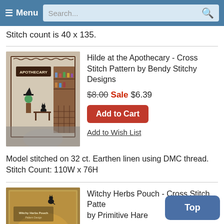≡ Menu  Search...
Stitch count is 40 x 135.
[Figure (photo): Cross stitch pattern photo showing an apothecary scene with a witch, cat, and shelves of potions. Text reads APOTHECARY.]
Hilde at the Apothecary - Cross Stitch Pattern by Bendy Stitchy Designs
$8.00 Sale $6.39
Add to Cart
Add to Wish List
Model stitched on 32 ct. Earthen linen using DMC thread. Stitch Count: 110W x 76H
[Figure (photo): Cross stitch pattern booklet cover showing Witchy Herbs Pouch design with autumn herbs and a black cat silhouette.]
Witchy Herbs Pouch - Cross Stitch Pattern by Primitive Hare
$12.00 $11.20